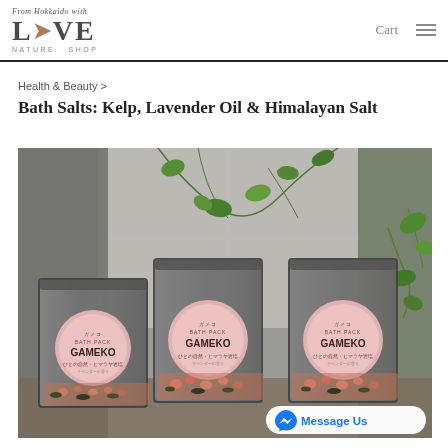From Hokkaido with LOVE NATURE SHOP | Cart
Health & Beauty >
Bath Salts: Kelp, Lavender Oil & Himalayan Salt
[Figure (photo): Three silver foil stand-up pouches labeled GAMEKO BATH PACK arranged in a row, each with a pink circular label and containing visible pink himalayan salt crystals and kelp, with green ivy plants in the background near a window.]
Message Us